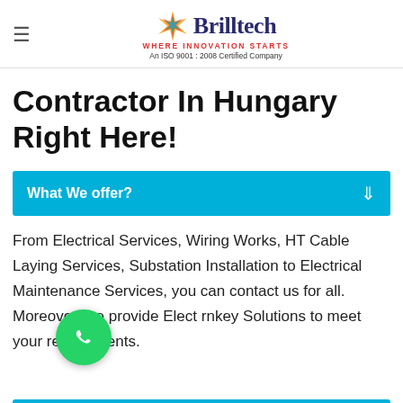Brilltech — WHERE INNOVATION STARTS — An ISO 9001 : 2008 Certified Company
Contractor In Hungary Right Here!
What We offer?
From Electrical Services, Wiring Works, HT Cable Laying Services, Substation Installation to Electrical Maintenance Services, you can contact us for all. Moreover, we provide Electrical Turnkey Solutions to meet your requirements.
[Figure (logo): WhatsApp chat button — green circle with white phone handset icon]
Where We Serve?